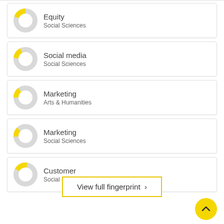Equity
Social Sciences
Social media
Social Sciences
Marketing
Arts & Humanities
Marketing
Social Sciences
Customer
Social Sciences
View full fingerprint ›